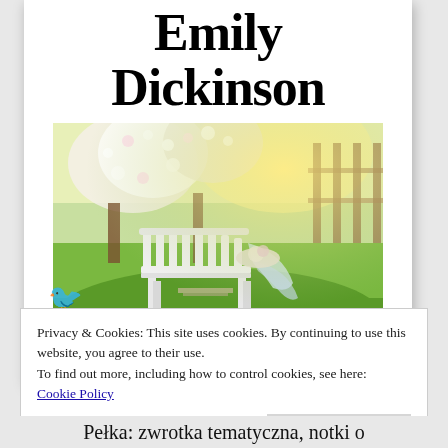Emily Dickinson
[Figure (photo): A garden scene with a white wooden bench surrounded by blooming white flowers and green grass, with warm sunlight filtering through trees.]
Privacy & Cookies: This site uses cookies. By continuing to use this website, you agree to their use.
To find out more, including how to control cookies, see here:
Cookie Policy
Close and accept
Pełka: zwrotka tematyczna, notki o